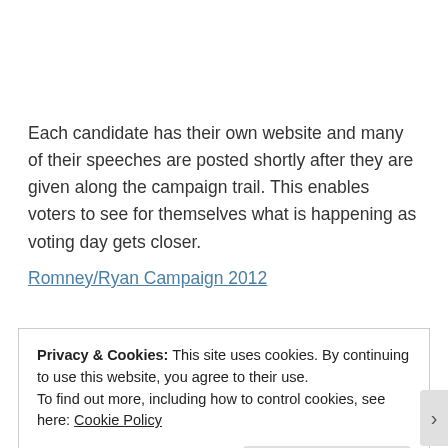Each candidate has their own website and many of their speeches are posted shortly after they are given along the campaign trail. This enables voters to see for themselves what is happening as voting day gets closer.
Romney/Ryan Campaign 2012
Obama/Biden Campaign 2012
Privacy & Cookies: This site uses cookies. By continuing to use this website, you agree to their use.
To find out more, including how to control cookies, see here: Cookie Policy
Close and accept